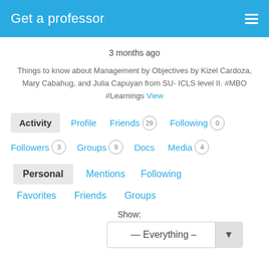Get a professor
3 months ago
Things to know about Management by Objectives by Kizel Cardoza, Mary Cabahug, and Julia Capuyan from SU- ICLS level II. #MBO #Learnings View
Activity | Profile | Friends 29 | Following 0
Followers 3 | Groups 9 | Docs | Media 4
Personal | Mentions | Following
Favorites | Friends | Groups
Show:
— Everything –